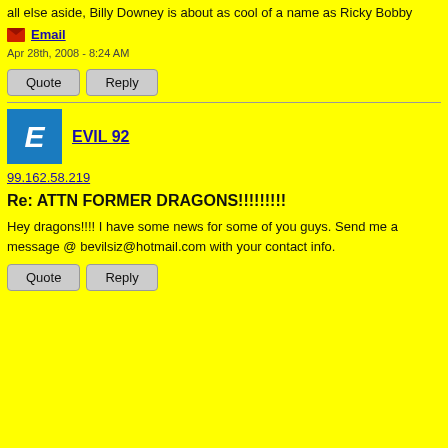all else aside, Billy Downey is about as cool of a name as Ricky Bobby
Email
Apr 28th, 2008 - 8:24 AM
Quote
Reply
[Figure (other): Avatar icon for user EVIL 92, blue square with italic letter E]
EVIL 92
99.162.58.219
Re: ATTN FORMER DRAGONS!!!!!!!!!
Hey dragons!!!! I have some news for some of you guys. Send me a message @ bevilsiz@hotmail.com with your contact info.
Quote
Reply